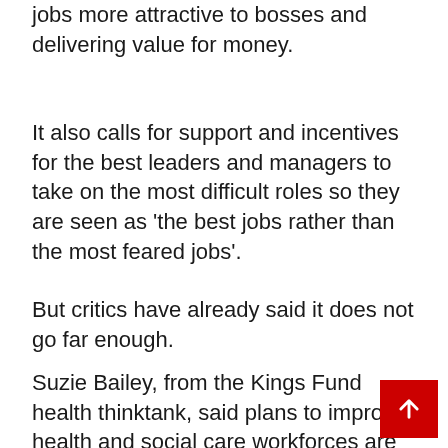jobs more attractive to bosses and delivering value for money.
It also calls for support and incentives for the best leaders and managers to take on the most difficult roles so they are seen as ‘the best jobs rather than the most feared jobs’.
But critics have already said it does not go far enough.
Suzie Bailey, from the Kings Fund health thinktank, said plans to improve health and social care workforces are ‘to be welcomed’.
[Figure (other): Red scroll-to-top button with white upward arrow icon in bottom-right corner]